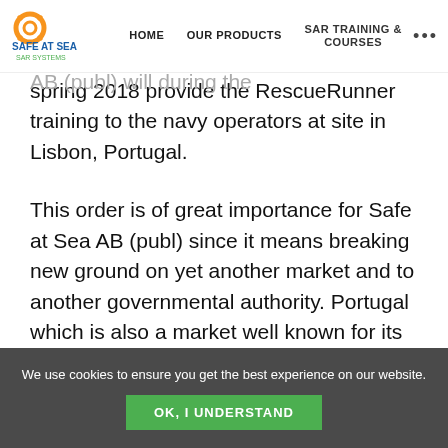Safe at Sea | Home | Our Products | SAR Training & Courses
RescueRunner and cradle will be delivered in January 2018. Safe at Sea AB (publ) will during the spring 2018 provide the RescueRunner training to the navy operators at site in Lisbon, Portugal.
This order is of great importance for Safe at Sea AB (publ) since it means breaking new ground on yet another market and to another governmental authority. Portugal which is also a market well known for its tough seas, long coast and a great marine industry.
“The Portuguese Navy have historically used
We use cookies to ensure you get the best experience on our website.
OK, I UNDERSTAND